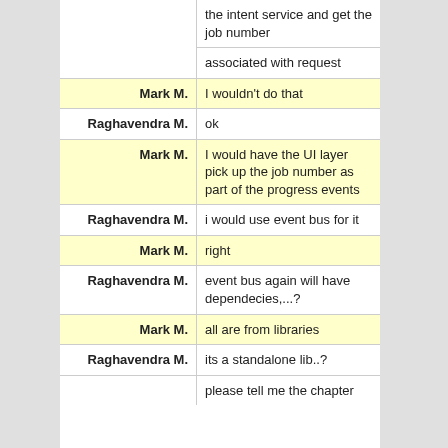|  | the intent service and get the job number |
|  | associated with request |
| Mark M. | I wouldn't do that |
| Raghavendra M. | ok |
| Mark M. | I would have the UI layer pick up the job number as part of the progress events |
| Raghavendra M. | i would use event bus for it |
| Mark M. | right |
| Raghavendra M. | event bus again will have dependecies,...? |
| Mark M. | all are from libraries |
| Raghavendra M. | its a standalone lib..? |
|  | please tell me the chapter |